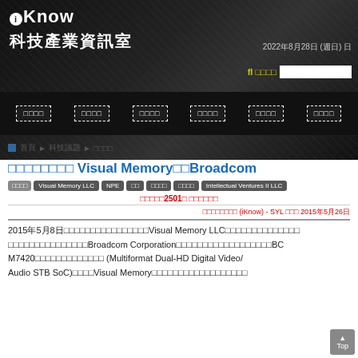iKnow 科技產業資訊室 2022年8月28日 (週日)
[Figure (screenshot): iKnow website header with dark background, logo, subtitle 科技產業資訊室, date 2022年8月28日（週日）, search bar with fl 搜尋 label]
□□□□ □□□□ □□□□ □□□□ □□□□ □□□□ (navigation menu items)
■ 首頁 ► 科技議題 ►智財訴訟
□□□□□□□□ Visual Memory□□Broadcom
專利權 Visual Memory LLC NPE□□ 訴訟 非執業 原告 Intellectual Ventures II LLC
□□□□□2501□ □□□□□□
□□□□□□□□ (iKnow) - SYL □□□ 2015年5月26日
2015年5月8日□□□□□□□□□□□□□Visual Memory LLC□□□□□□□□□□□□□□□□□□□□Broadcom Corporation□□□□□□□□□□□□□□□BCM7420□□□□□□□□□□ (Multiformat Dual-HD Digital Video/Audio STB SoC)□□□□Visual Memory□□□□□□□□□□□□□□□□